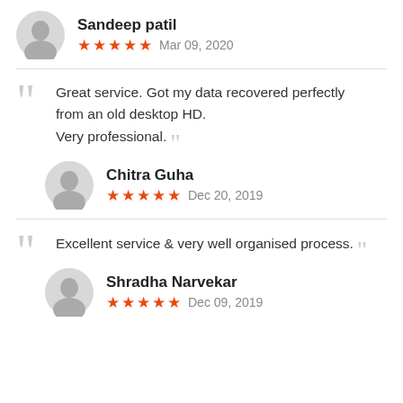Sandeep patil — ★★★★★  Mar 09, 2020
Great service. Got my data recovered perfectly from an old desktop HD. Very professional.
Chitra Guha — ★★★★★  Dec 20, 2019
Excellent service & very well organised process.
Shradha Narvekar — ★★★★★  Dec 09, 2019